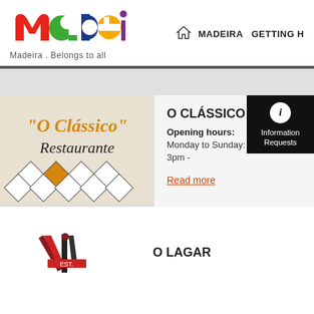[Figure (logo): Madeira colorful logo with text 'Madeira.Belongs to all']
MADEIRA   GETTING H
[Figure (illustration): O Clássico Restaurante sign with diamond tile pattern]
O CLÁSSICO
Opening hours: Monday to Sunday: 12.30 pm to 3pm -
Read more
[Figure (logo): O Lagar restaurant logo with scissors/tools graphic]
O LAGAR